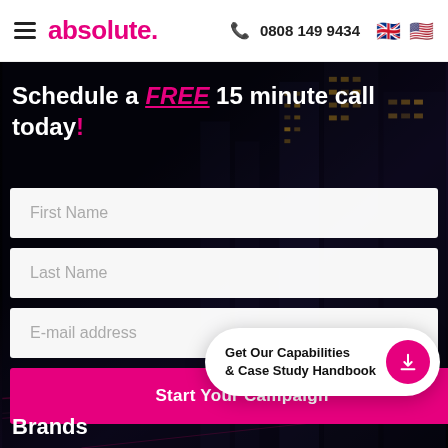absolute.  0808 149 9434
Schedule a FREE 15 minute call today!
First Name
Last Name
E-mail address
Start Your Campaign
Get Our Capabilities & Case Study Handbook
Brands